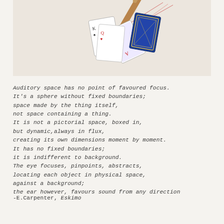[Figure (photo): Photograph of playing cards and a wooden stick or conductor's baton on a light cream/beige background, viewed from above]
Auditory space has no point of favoured focus.
It's a sphere without fixed boundaries;
space made by the thing itself,
not space containing a thing.
It is not a pictorial space, boxed in,
but dynamic,always in flux,
creating its own dimensions moment by moment.
It has no fixed boundaries;
it is indifferent to background.
The eye focuses, pinpoints, abstracts,
locating each object in physical space,
against a background;
the ear however, favours sound from any direction
-E.Carpenter, Eskimo